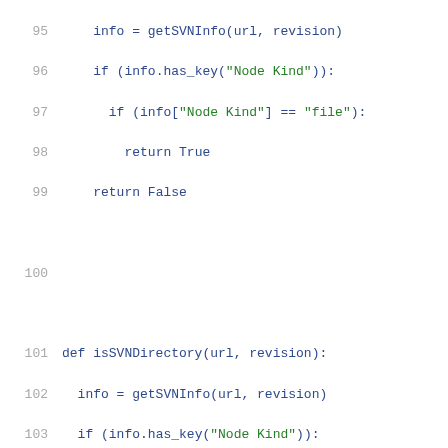Code listing lines 95-116: Python SVN helper functions isSVNDirectory and inCheckoutRoot